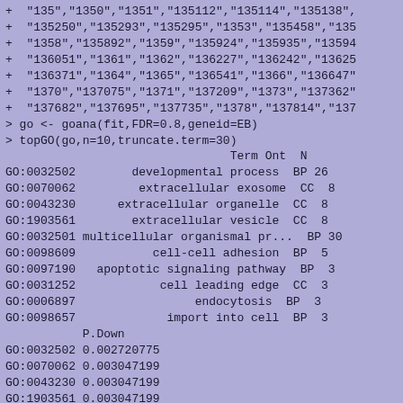+ "135","1350","1351","135112","135114","135138",
+ "135250","135293","135295","1353","135458","135...
+ "1358","135892","1359","135924","135935","13594...
+ "136051","1361","1362","136227","136242","13625...
+ "136371","1364","1365","136541","1366","136647"...
+ "1370","137075","1371","137209","1373","137362"...
+ "137682","137695","137735","1378","137814","137...
> go <- goana(fit,FDR=0.8,geneid=EB)
> topGO(go,n=10,truncate.term=30)
                                    Term Ont  N
GO:0032502             developmental process  BP 26
GO:0070062              extracellular exosome  CC  8
GO:0043230           extracellular organelle  CC  8
GO:1903561             extracellular vesicle  CC  8
GO:0032501 multicellular organismal pr...  BP 30
GO:0098609                  cell-cell adhesion  BP  5
GO:0097190      apoptotic signaling pathway  BP  3
GO:0031252                   cell leading edge  CC  3
GO:0006897                        endocytosis  BP  3
GO:0098657                  import into cell  BP  3
           P.Down
GO:0032502 0.002720775
GO:0070062 0.003047199
GO:0043230 0.003047199
GO:1903561 0.003047199
GO:0032501 0.007313910
GO:0098609 1.000000000
GO:0097190 1.000000000
GO:0031252 1.000000000